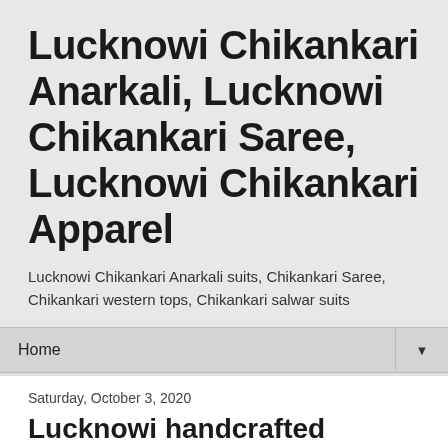Lucknowi Chikankari Anarkali, Lucknowi Chikankari Saree, Lucknowi Chikankari Apparel
Lucknowi Chikankari Anarkali suits, Chikankari Saree, Chikankari western tops, Chikankari salwar suits
Home
Saturday, October 3, 2020
Lucknowi handcrafted chikankari
Lucknowi handcrafted chikankari traditional wear